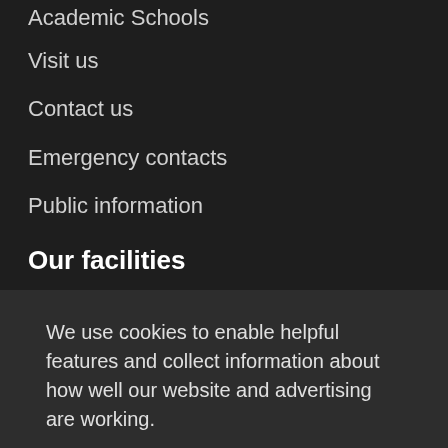Academic Schools
Visit us
Contact us
Emergency contacts
Public information
Our facilities
We use cookies to enable helpful features and collect information about how well our website and advertising are working.
Accept all cookies
Manage your cookie preferences